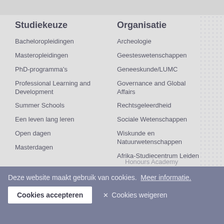Studiekeuze
Bacheloropleidingen
Masteropleidingen
PhD-programma's
Professional Learning and Development
Summer Schools
Een leven lang leren
Open dagen
Masterdagen
Organisatie
Archeologie
Geesteswetenschappen
Geneeskunde/LUMC
Governance and Global Affairs
Rechtsgeleerdheid
Sociale Wetenschappen
Wiskunde en Natuurwetenschappen
Afrika-Studiecentrum Leiden
Honours Academy
Deze website maakt gebruik van cookies. Meer informatie. Cookies accepteren ✕ Cookies weigeren